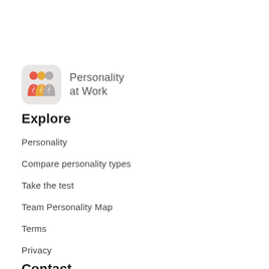[Figure (logo): Personality at Work app logo — rounded square with red, yellow/gold, and grey silhouette figures overlapping, beside the text 'Personality at Work']
Explore
Personality
Compare personality types
Take the test
Team Personality Map
Terms
Privacy
Contact